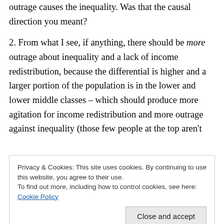outrage causes the inequality. Was that the causal direction you meant?
2. From what I see, if anything, there should be more outrage about inequality and a lack of income redistribution, because the differential is higher and a larger portion of the population is in the lower and lower middle classes – which should produce more agitation for income redistribution and more outrage against inequality (those few people at the top aren't
Privacy & Cookies: This site uses cookies. By continuing to use this website, you agree to their use.
To find out more, including how to control cookies, see here: Cookie Policy
obviously missing something here, yes?